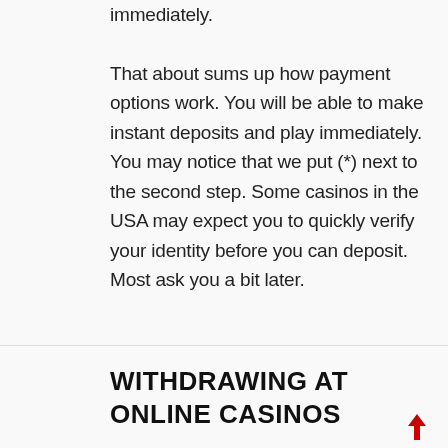immediately. That about sums up how payment options work. You will be able to make instant deposits and play immediately. You may notice that we put (*) next to the second step. Some casinos in the USA may expect you to quickly verify your identity before you can deposit. Most ask you a bit later.
WITHDRAWING AT ONLINE CASINOS